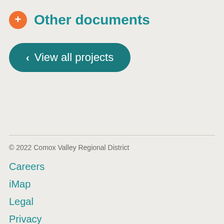Other documents
View all projects
© 2022 Comox Valley Regional District
Careers
iMap
Legal
Privacy
Credits